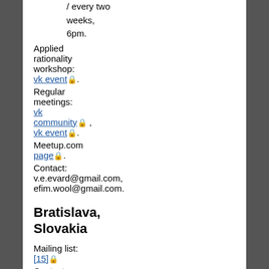/ every two weeks, 6pm.
Applied rationality workshop: vk event 🔒.
Regular meetings: vk community 🔒 , vk event 🔒.
Meetup.com page 🔒.
Contact: v.e.evard@gmail.com, efim.wool@gmail.com.
Bratislava, Slovakia
Mailing list: [15] 🔒
Contact: